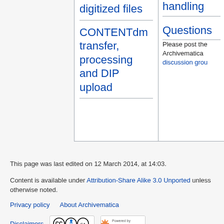digitized files
CONTENTdm transfer, processing and DIP upload
handling
Questions
Please post the Archivematica discussion grou
This page was last edited on 12 March 2014, at 14:03.
Content is available under Attribution-Share Alike 3.0 Unported unless otherwise noted.
Privacy policy   About Archivematica
Disclaimers